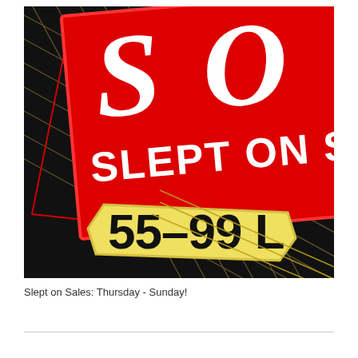[Figure (illustration): Promotional sale graphic with a red banner reading 'S O S / SLEPT ON SALES' in large white bold italic text, overlaid on a black background with gold/yellow diagonal lines. A yellow hexagonal sign in the lower portion reads '55-99 L' in large bold black text. Red outline borders frame both signs.]
Slept on Sales: Thursday - Sunday!